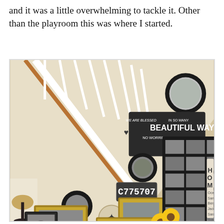and it was a little overwhelming to tackle it. Other than the playroom this was where I started.
[Figure (photo): Interior staircase gallery wall with black and white framed photos, a license plate reading C775707, decorative mirrors, a chalkboard sign reading 'WE ARE BLESSED IN SO MANY BEAUTIFUL WAYS NO WORRIES NO REGRETS', a round mirror at top right, a multi-photo collage frame, a 'HOME' hanging sign with city names, starfish decoration, a lamp at bottom left, and sunflowers at bottom right.]